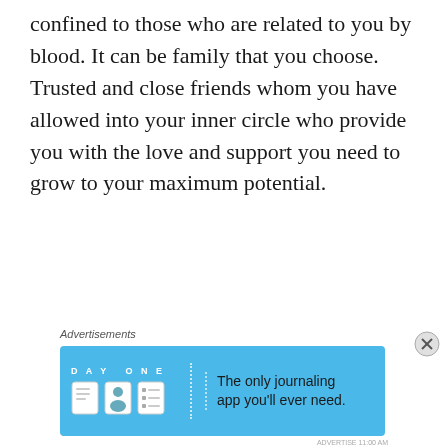confined to those who are related to you by blood. It can be family that you choose. Trusted and close friends whom you have allowed into your inner circle who provide you with the love and support you need to grow to your maximum potential.
[Figure (infographic): Advertisement banner for Day One journaling app on a light blue background. Shows 'DAY ONE' text logo with three app icons (document, person, list) and the tagline 'The only journaling app you'll ever need.' There is a close (X) button in the top-right corner of the ad area and small gray text 'ADVERTISE 11:00 AM' at the bottom right.]